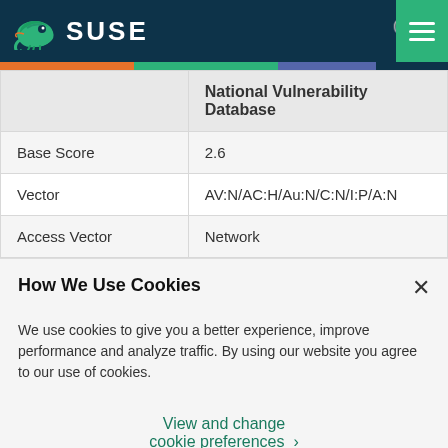SUSE
|  | National Vulnerability Database |
| --- | --- |
| Base Score | 2.6 |
| Vector | AV:N/AC:H/Au:N/C:N/I:P/A:N |
| Access Vector | Network |
How We Use Cookies
We use cookies to give you a better experience, improve performance and analyze traffic. By using our website you agree to our use of cookies.
View and change cookie preferences >